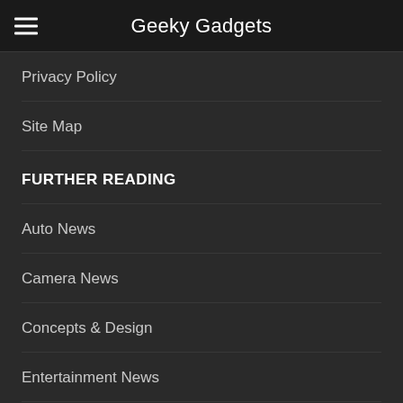Geeky Gadgets
Privacy Policy
Site Map
FURTHER READING
Auto News
Camera News
Concepts & Design
Entertainment News
Design News
Geeky Stuff